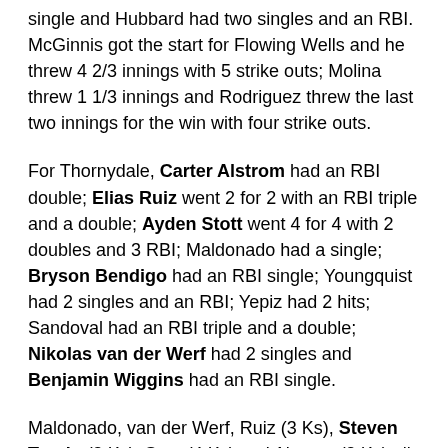single and Hubbard had two singles and an RBI. McGinnis got the start for Flowing Wells and he threw 4 2/3 innings with 5 strike outs; Molina threw 1 1/3 innings and Rodriguez threw the last two innings for the win with four strike outs.
For Thornydale, Carter Alstrom had an RBI double; Elias Ruiz went 2 for 2 with an RBI triple and a double; Ayden Stott went 4 for 4 with 2 doubles and 3 RBI; Maldonado had a single; Bryson Bendigo had an RBI single; Youngquist had 2 singles and an RBI; Yepiz had 2 hits; Sandoval had an RBI triple and a double; Nikolas van der Werf had 2 singles and Benjamin Wiggins had an RBI single.
Maldonado, van der Werf, Ruiz (3 Ks), Steven Torain (2 Ks), Stott (4 Ks) and Alstrom (2 Ks) all saw action on the mound for Thornydale.